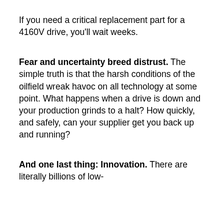If you need a critical replacement part for a 4160V drive, you'll wait weeks.
Fear and uncertainty breed distrust. The simple truth is that the harsh conditions of the oilfield wreak havoc on all technology at some point. What happens when a drive is down and your production grinds to a halt? How quickly, and safely, can your supplier get you back up and running?
And one last thing: Innovation. There are literally billions of low-